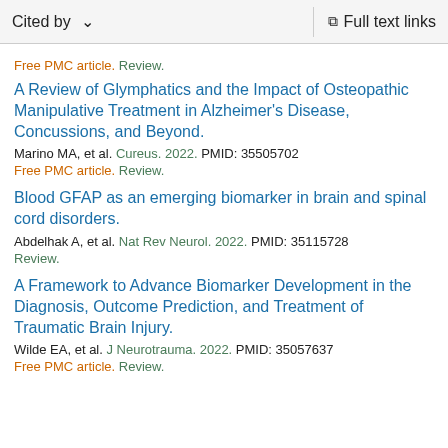Cited by | Full text links
Free PMC article. Review.
A Review of Glymphatics and the Impact of Osteopathic Manipulative Treatment in Alzheimer's Disease, Concussions, and Beyond.
Marino MA, et al. Cureus. 2022. PMID: 35505702
Free PMC article. Review.
Blood GFAP as an emerging biomarker in brain and spinal cord disorders.
Abdelhak A, et al. Nat Rev Neurol. 2022. PMID: 35115728
Review.
A Framework to Advance Biomarker Development in the Diagnosis, Outcome Prediction, and Treatment of Traumatic Brain Injury.
Wilde EA, et al. J Neurotrauma. 2022. PMID: 35057637
Free PMC article. Review.